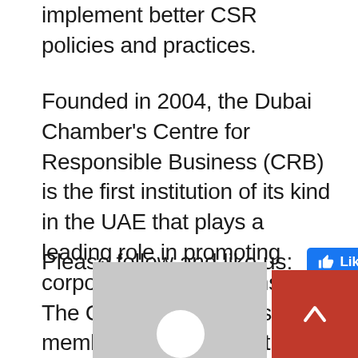implement better CSR policies and practices.
Founded in 2004, the Dubai Chamber's Centre for Responsible Business (CRB) is the first institution of its kind in the UAE that plays a leading role in promoting corporate social responsibility. The Centre encourages member companies of the Chamber to adopt responsible business practices, which ultimately enhance their performance and competitiveness.
Please follow and like us:
[Figure (screenshot): Facebook Like button in blue]
[Figure (photo): Grey avatar/profile placeholder image at bottom center]
[Figure (other): Red box with white upward chevron arrow at bottom right corner]